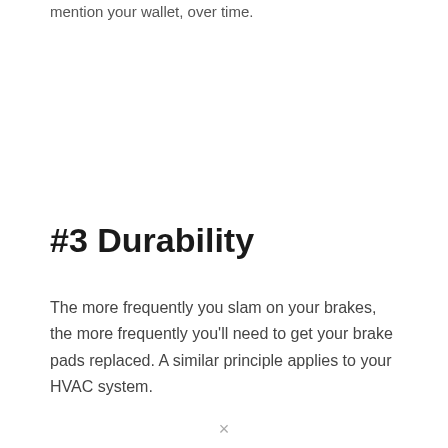mention your wallet, over time.
#3 Durability
The more frequently you slam on your brakes, the more frequently you'll need to get your brake pads replaced. A similar principle applies to your HVAC system.